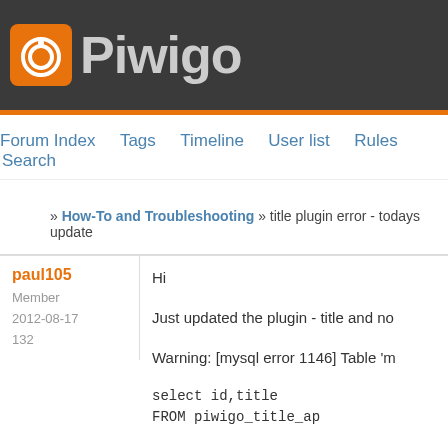[Figure (logo): Piwigo logo: orange camera icon with white circle/lens, followed by 'Piwigo' text in gray on dark background]
Forum Index   Tags   Timeline   User list   Rules   Search
» How-To and Troubleshooting » title plugin error - todays update
paul105
Member
2012-08-17
132
Hi

Just updated the plugin - title and no

Warning: [mysql error 1146] Table 'm

select id,title
FROM piwigo_title_ap